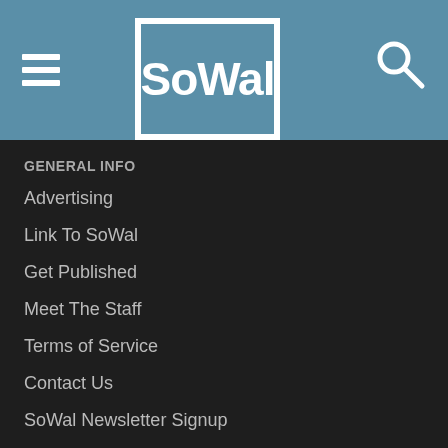SoWal
GENERAL INFO
Advertising
Link To SoWal
Get Published
Meet The Staff
Terms of Service
Contact Us
SoWal Newsletter Signup
FOLLOW SOWAL ON SOCIAL MEDIA
[Figure (infographic): Social media icons: Facebook, Twitter, Instagram, Pinterest, YouTube, RSS]